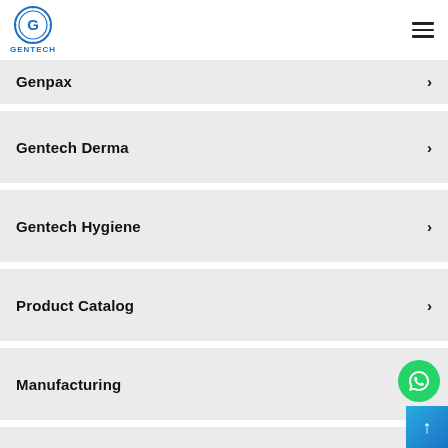[Figure (logo): Gentech circular logo in blue with letter G inside, text GENTECH below]
Genpax ›
Gentech Derma ›
Gentech Hygiene ›
Product Catalog ›
Manufacturing ›
Third party manufacturing ›